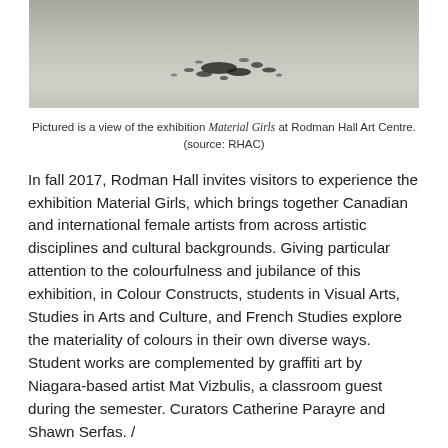[Figure (photo): A view of an exhibition floor with scattered dark debris/objects on a grey surface, partially cropped at top of page.]
Pictured is a view of the exhibition Material Girls at Rodman Hall Art Centre. (source: RHAC)
In fall 2017, Rodman Hall invites visitors to experience the exhibition Material Girls, which brings together Canadian and international female artists from across artistic disciplines and cultural backgrounds. Giving particular attention to the colourfulness and jubilance of this exhibition, in Colour Constructs, students in Visual Arts, Studies in Arts and Culture, and French Studies explore the materiality of colours in their own diverse ways. Student works are complemented by graffiti art by Niagara-based artist Mat Vizbulis, a classroom guest during the semester. Curators Catherine Parayre and Shawn Serfas. /
A l'automne 2017, Rodman Hall invite ses visiteurs à découvrir